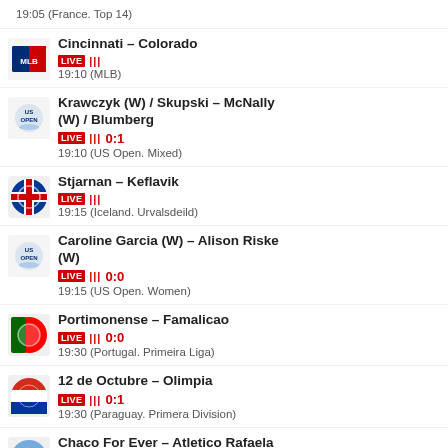19:05 (France. Top 14)
Cincinnati – Colorado
LIVE ||| 
19:10 (MLB)
Krawczyk (W) / Skupski – McNally (W) / Blumberg
LIVE |||  0:1
19:10 (US Open. Mixed)
Stjarnan – Keflavik
LIVE |||
19:15 (Iceland. Urvalsdeild)
Caroline Garcia (W) – Alison Riske (W)
LIVE |||  0:0
19:15 (US Open. Women)
Portimonense – Famalicao
LIVE |||  0:0
19:30 (Portugal. Primeira Liga)
12 de Octubre – Olimpia
LIVE |||  0:1
19:30 (Paraguay. Primera Division)
Chaco For Ever – Atletico Rafaela
LIVE |||  0:0
19:30 (Argentina. Primera Nacional)
Alvarado – Nueva Chicago
LIVE |||  0:0
19:30 (Argentina. Primera Nacional)
Rio Cuarto – Deportivo Maipu
LIVE |||  0:0
19:30 (Argentina. Primera Nacional)
Raja CA – Olympic Safi
LIVE |||  0:1